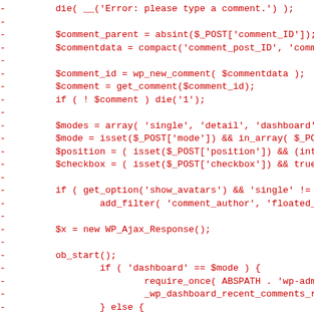[Figure (other): Code diff snippet in red monospace font showing PHP code for WordPress comment handling, with diff markers (-) on the left side]